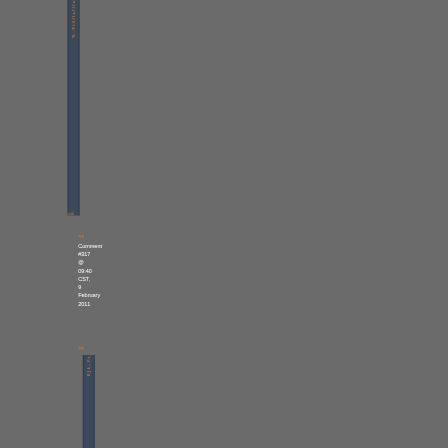[Figure (screenshot): Vertical dark blue sidebar panel with orange rotated text, appears to be a navigation/comment sidebar from a web interface]
Comment #317 @ 09:40 CST, 9 February 2011
<<
>>
[Figure (screenshot): Second vertical dark blue sidebar panel with orange rotated text at bottom of page]